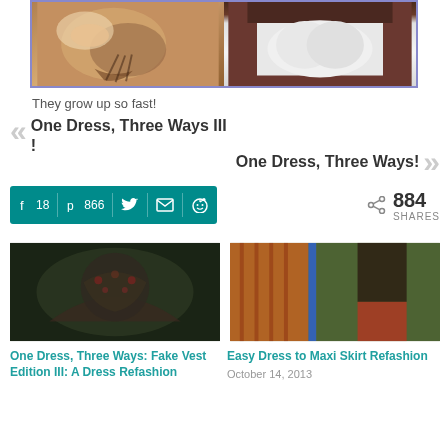[Figure (photo): Two photos side by side: left shows a cat paw being held by a human hand on a white fluffy surface; right shows white leggings worn by a person sitting.]
They grow up so fast!
« One Dress, Three Ways III !
One Dress, Three Ways! »
f 18   p 866   [twitter] [email] [reddit]   884 SHARES
[Figure (photo): Thumbnail image of a dark patterned fabric item.]
One Dress, Three Ways: Fake Vest Edition III: A Dress Refashion
[Figure (photo): Thumbnail image of a woman in colorful striped dress outdoors with another person in red patterned pants.]
Easy Dress to Maxi Skirt Refashion
October 14, 2013